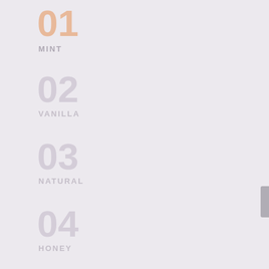01
MINT
02
VANILLA
03
NATURAL
04
HONEY